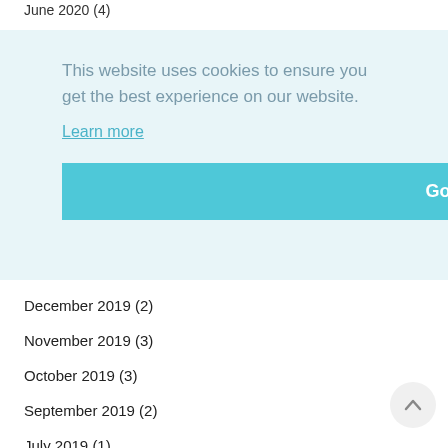June 2020 (4)
This website uses cookies to ensure you get the best experience on our website.
Learn more
Got it!
December 2019 (2)
November 2019 (3)
October 2019 (3)
September 2019 (2)
July 2019 (1)
May 2019 (3)
April 2019 (2)